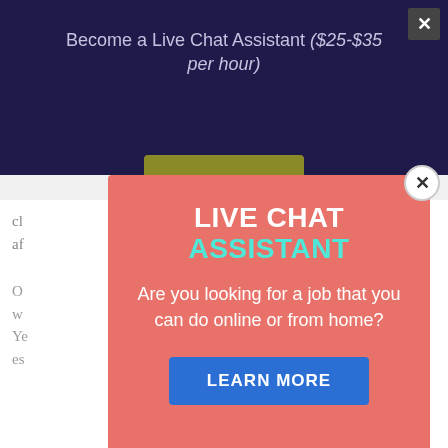Become a Live Chat Assistant ($25-$35 per hour)
[Figure (screenshot): A coral/salmon-colored modal popup overlay on a web page. The modal displays 'LIVE CHAT ASSISTANT' as a title (white bold text and cyan text), followed by 'Are you looking for a job that you can do online or from home?' and a blue 'LEARN MORE' button. A circular close button with X is in the top-right corner of the modal. Behind the modal is a dark navy page header and white article content.]
Application for Online Jobs
Many people prefer to obtain online jobs since it is more convenient and the application process...